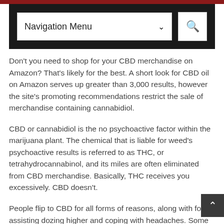[Figure (screenshot): Website navigation bar with dark/black background containing a 'Navigation Menu' dropdown selector and a search button with magnifying glass icon]
Don't you need to shop for your CBD merchandise on Amazon? That's likely for the best. A short look for CBD oil on Amazon serves up greater than 3,000 results, however the site's promoting recommendations restrict the sale of merchandise containing cannabidiol.
CBD or cannabidiol is the no psychoactive factor within the marijuana plant. The chemical that is liable for weed's psychoactive results is referred to as THC, or tetrahydrocannabinol, and its miles are often eliminated from CBD merchandise. Basically, THC receives you excessively. CBD doesn't.
People flip to CBD for all forms of reasons, along with for assisting dozing higher and coping with headaches. Some human beings